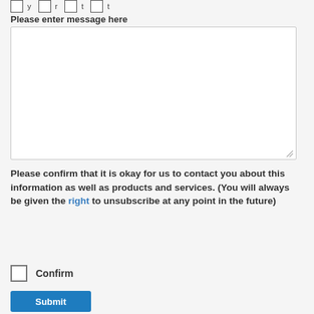Please enter message here
[Figure (other): Empty text area input field with resize handle]
Please confirm that it is okay for us to contact you about this information as well as products and services. (You will always be given the right to unsubscribe at any point in the future)
Confirm (checkbox)
Submit